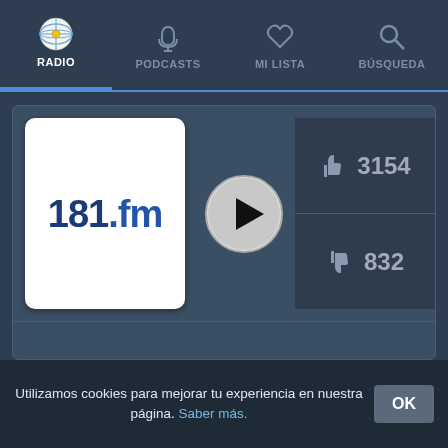[Figure (screenshot): Navigation bar with RADIO (active, Argentina flag icon), PODCASTS (headphones icon), MI LISTA (heart icon), BÚSQUEDA (search icon)]
[Figure (screenshot): Radio station card for 181.fm showing logo, play button, thumbs up count 3154, thumbs down count 832]
Utilizamos cookies para mejorar tu experiencia en nuestra página. Saber más.
OK